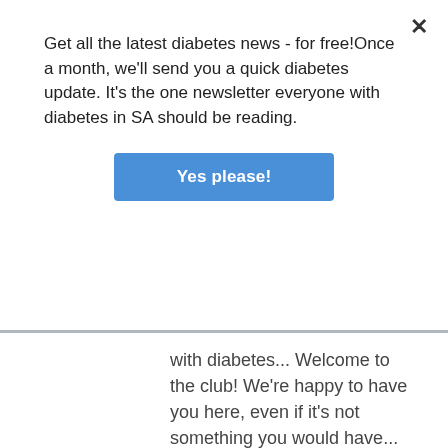Get all the latest diabetes news - for free!Once a month, we'll send you a quick diabetes update. It's the one newsletter everyone with diabetes in SA should be reading.
[Figure (other): Blue button labeled 'Yes please!']
with diabetes... Welcome to the club! We're happy to have you here, even if it's not something you would have...
Continue reading